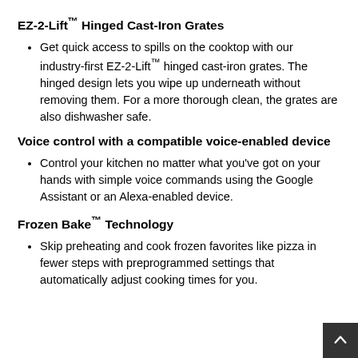EZ-2-Lift™ Hinged Cast-Iron Grates
Get quick access to spills on the cooktop with our industry-first EZ-2-Lift™ hinged cast-iron grates. The hinged design lets you wipe up underneath without removing them. For a more thorough clean, the grates are also dishwasher safe.
Voice control with a compatible voice-enabled device
Control your kitchen no matter what you've got on your hands with simple voice commands using the Google Assistant or an Alexa-enabled device.
Frozen Bake™ Technology
Skip preheating and cook frozen favorites like pizza in fewer steps with preprogrammed settings that automatically adjust cooking times for you.